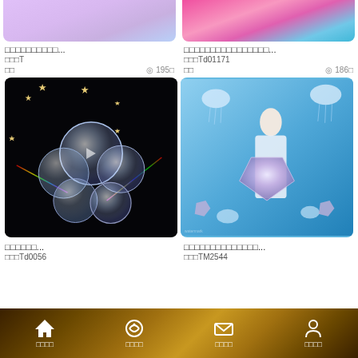[Figure (screenshot): Top partial view of left item card image - pink/purple gradient decorative image]
[Figure (screenshot): Top partial view of right item card image - pink/teal floral decorative image]
□□□□□□□□□□...
□□□□□□□□□□□□□□□□...
□□□T
□□□Td01171
□□  ◎ 195□
□□  ◎ 186□
[Figure (photo): Dark background with iridescent soap/crystal bubbles arranged in flower pattern with sparkles and reflections]
[Figure (photo): Blue fantasy scene with woman in white hanfu holding crystal gem, jellyfish floating around her]
□□□□□□...
□□□□□□□□□□□□□□...
□□□Td0056
□□□TM2544
□□□□  □□□□  □□□□  □□□□